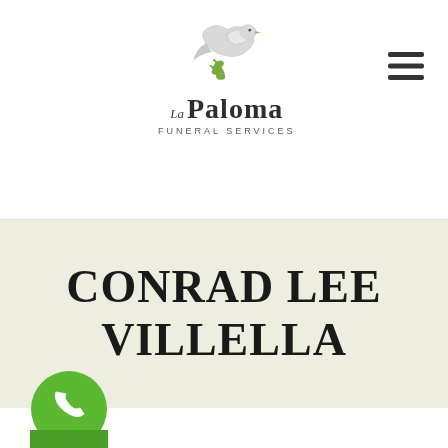[Figure (logo): La Paloma Funeral Services logo with a white dove and olive branch, company name in serif font]
[Figure (other): Hamburger menu icon (three horizontal lines) in the top right corner]
CONRAD LEE VILLELLA
[Figure (other): Green circular phone/call button icon at bottom left, partially cropped]